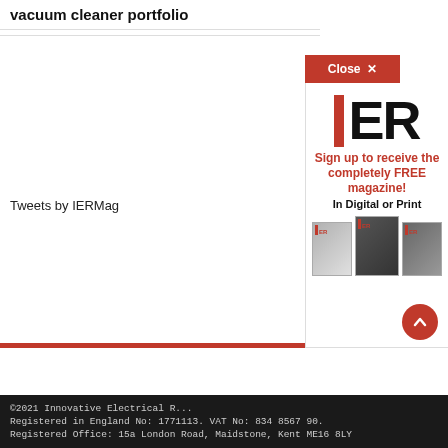vacuum cleaner portfolio
Tweets by IERMag
[Figure (screenshot): IER magazine advertisement popup with Close X button, IER logo with red I bar, tagline 'Sign up to receive the completely FREE magazine! In Digital or Print', and three magazine cover images]
©2021 Innovative Electrical R... Registered in England No: 1771113. VAT No: 834 8567 90. Registered Office: 15a London Road, Maidstone, Kent ME16 8LY